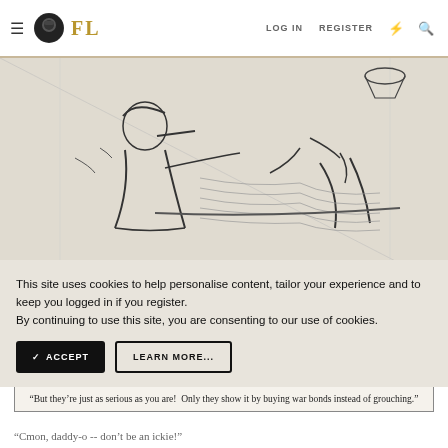FL | LOG IN  REGISTER
[Figure (illustration): Black and white comic/cartoon illustration showing two figures in what appears to be an interior scene. One figure is seated with a cigar, another figure is gesturing.]
This site uses cookies to help personalise content, tailor your experience and to keep you logged in if you register. By continuing to use this site, you are consenting to our use of cookies.
✓ ACCEPT   LEARN MORE...
"But they're just as serious as you are! Only they show it by buying war bonds instead of grouching."
"Cmon, daddy-o -- don't be an ickie!"